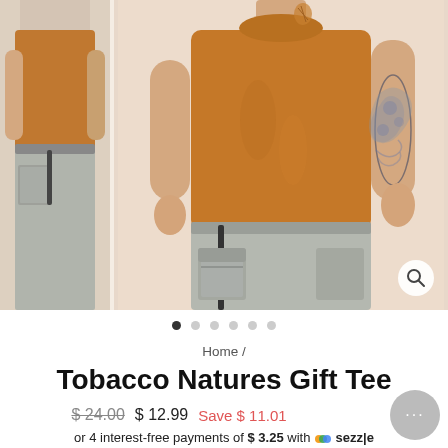[Figure (photo): Product photo of a person wearing an orange t-shirt and grey cargo shorts. Left side shows a smaller thumbnail of the same outfit. Right side shows a magnify/search icon button.]
• • • • • •  (image carousel dots, first dot filled/active)
Home /
Tobacco Natures Gift Tee
$24.00  $12.99  Save $11.01
or 4 interest-free payments of $3.25 with sezzle